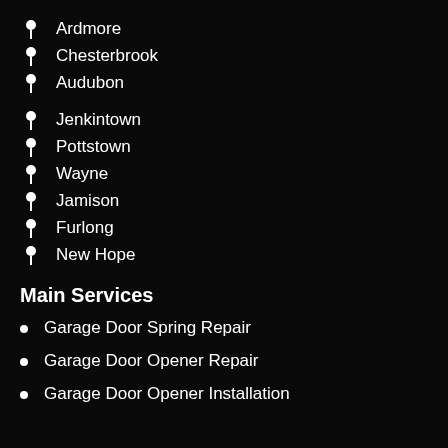Ardmore
Chesterbrook
Audubon
Jenkintown
Pottstown
Wayne
Jamison
Furlong
New Hope
Main Services
Garage Door Spring Repair
Garage Door Opener Repair
Garage Door Opener Installation